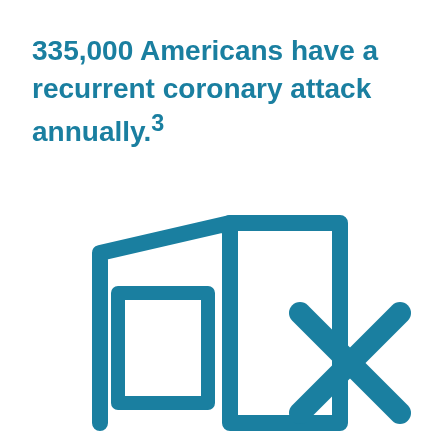335,000 Americans have a recurrent coronary attack annually.³
[Figure (illustration): Icon of an open book or folded pages (representing hospital/door) rendered in teal, with an X symbol to the right also in teal, suggesting hospital readmission or recurrence concept.]